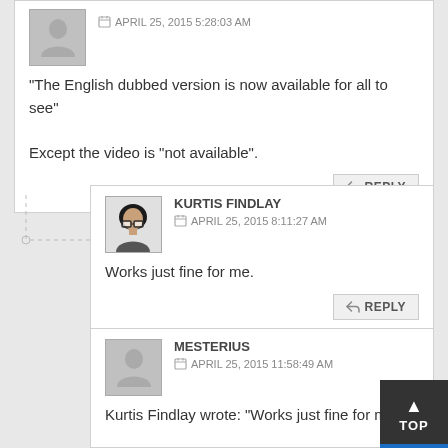“The English dubbed version is now available for all to see”

Except the video is “not available”.
APRIL 25, 2015 5:28:03 AM
KURTIS FINDLAY
APRIL 25, 2015 8:11:27 AM
Works just fine for me.
MESTERIUS
APRIL 25, 2015 11:58:49 AM
Kurtis Findlay wrote: “Works just fine for me”.